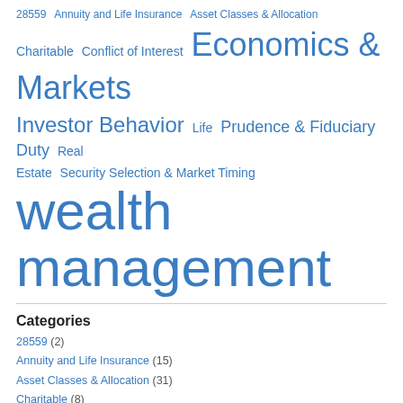[Figure (infographic): Tag cloud showing finance categories with varying font sizes. Tags include: 28559, Annuity and Life Insurance, Asset Classes & Allocation, Charitable, Conflict of Interest, Economics & Markets (large), Investor Behavior (large), Life, Prudence & Fiduciary Duty, Real Estate, Security Selection & Market Timing, wealth management (very large).]
Categories
28559 (2)
Annuity and Life Insurance (15)
Asset Classes & Allocation (31)
Charitable (8)
Conflict of Interest (41)
Economics & Markets (107)
Investor Behavior (82)